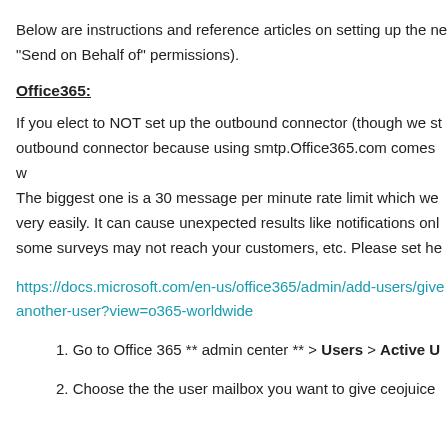Below are instructions and reference articles on setting up the ne "Send on Behalf of" permissions).
Office365:
If you elect to NOT set up the outbound connector (though we st outbound connector because using smtp.Office365.com comes w The biggest one is a 30 message per minute rate limit which we very easily. It can cause unexpected results like notifications onl some surveys may not reach your customers, etc. Please set he
https://docs.microsoft.com/en-us/office365/admin/add-users/give another-user?view=o365-worldwide
1. Go to Office 365 ** admin center ** > Users > Active U
2. Choose the the user mailbox you want to give ceojuice